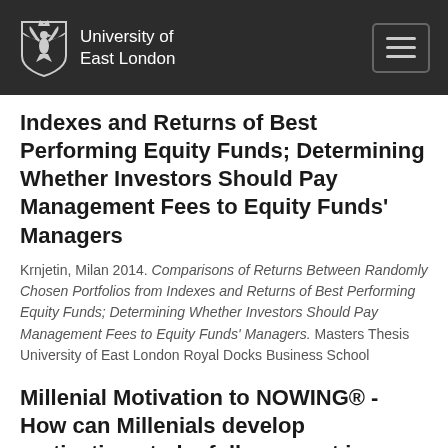University of East London
Indexes and Returns of Best Performing Equity Funds; Determining Whether Investors Should Pay Management Fees to Equity Funds' Managers
Krnjetin, Milan 2014. Comparisons of Returns Between Randomly Chosen Portfolios from Indexes and Returns of Best Performing Equity Funds; Determining Whether Investors Should Pay Management Fees to Equity Funds' Managers. Masters Thesis University of East London Royal Docks Business School
Millenial Motivation to NOWING® - How can Millenials develop motivations to be fully present in